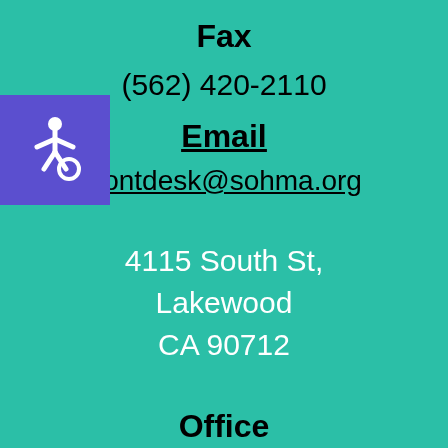Fax
(562) 420-2110
Email
frontdesk@sohma.org
[Figure (illustration): Wheelchair accessibility icon — white figure on purple/indigo square background]
4115 South St, Lakewood CA 90712
Office